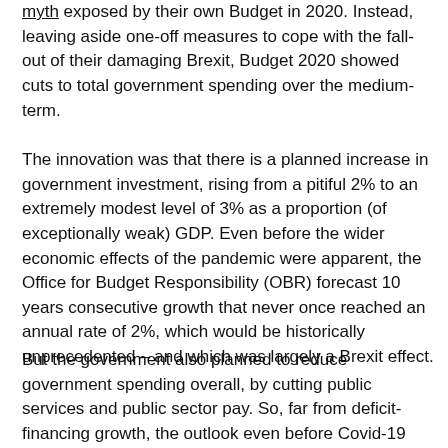myth exposed by their own Budget in 2020. Instead, leaving aside one-off measures to cope with the fall-out of their damaging Brexit, Budget 2020 showed cuts to total government spending over the medium-term.
The innovation was that there is a planned increase in government investment, rising from a pitiful 2% to an extremely modest level of 3% as a proportion (of exceptionally weak) GDP. Even before the wider economic effects of the pandemic were apparent, the Office for Budget Responsibility (OBR) forecast 10 years consecutive growth that never once reached an annual rate of 2%, which would be historically unprecedented – and which was largely a Brexit effect.
But the government also planned to reduce government spending overall, by cutting public services and public sector pay. So, far from deficit-financing growth, the outlook even before Covid-19 was that inducements to the private sector to